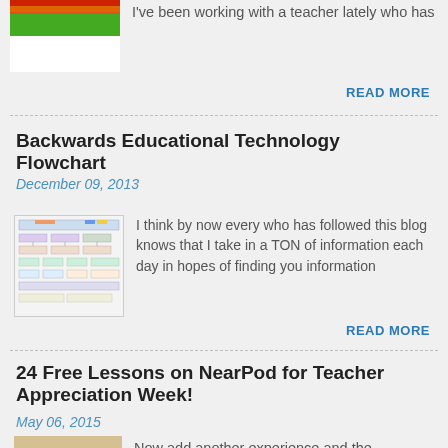[Figure (photo): Thumbnail image with green, orange, red horizontal stripes on top and white below]
I've been working with a teacher lately who has
READ MORE
Backwards Educational Technology Flowchart
December 09, 2013
[Figure (screenshot): Thumbnail image of an educational technology flowchart diagram with boxes and arrows]
I think by now every who has followed this blog knows that I take in a TON of information each day in hopes of finding you information
READ MORE
24 Free Lessons on NearPod for Teacher Appreciation Week!
May 06, 2015
[Figure (photo): Partial thumbnail image at bottom, yellowish/beige color]
Now add another experience and the...